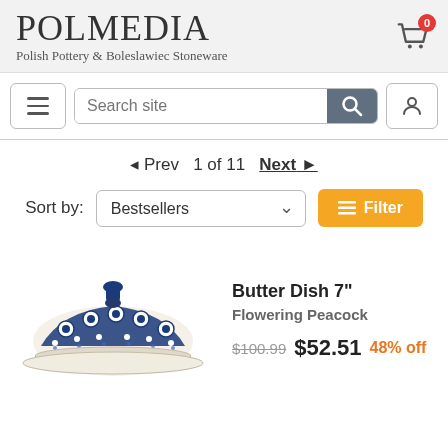POLMEDIA Polish Pottery & Boleslawiec Stoneware
Search site
◄ Prev  1 of 11  Next ►
Sort by: Bestsellers  Filter
Butter Dish 7"
Flowering Peacock
$100.99  $52.51  48% off
[Figure (photo): Photo of a blue and white Polish pottery butter dish with peacock floral pattern and dark blue knob on lid]